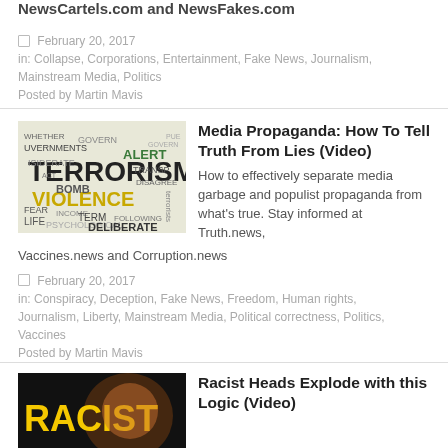NewsCartels.com and NewsFakes.com
February 20, 2017
in: Collapse, Corporations, Entertainment, Fake News, Journalism, Mainstream Media, Politics
Posted by Martin Mavis
[Figure (photo): Word cloud featuring terms like TERRORISM, VIOLENCE, BOMB, FEAR, PSYCHOLOGICAL, DELIBERATE, ALERT, and others related to media and propaganda]
Media Propaganda: How To Tell Truth From Lies (Video)
How to effectively separate media garbage and populist propaganda from what's true. Stay informed at Truth.news, Vaccines.news and Corruption.news
February 20, 2017
in: Conspiracy, Deception, Fake News, Freedom, Human rights, Journalism, Liberty, Mainstream Media, Political correctness, Politics, Vaccines
Posted by Martin Mavis
[Figure (photo): Thumbnail image with yellow RACIST text and a person's face]
Racist Heads Explode with this Logic (Video)